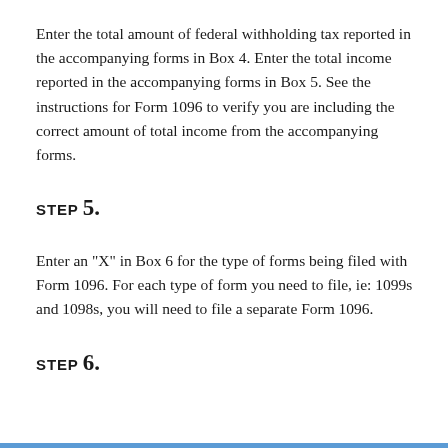Enter the total amount of federal withholding tax reported in the accompanying forms in Box 4. Enter the total income reported in the accompanying forms in Box 5. See the instructions for Form 1096 to verify you are including the correct amount of total income from the accompanying forms.
STEP 5.
Enter an "X" in Box 6 for the type of forms being filed with Form 1096. For each type of form you need to file, ie: 1099s and 1098s, you will need to file a separate Form 1096.
STEP 6.